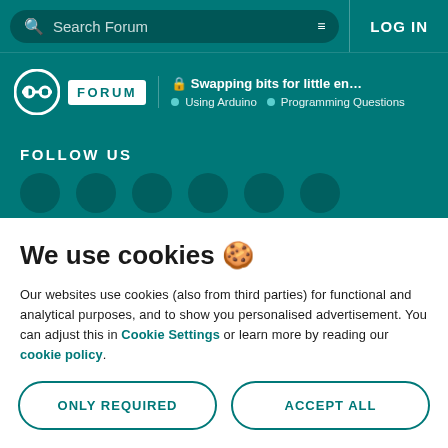Search Forum | LOG IN
🔒 Swapping bits for little endian to big endi... | Using Arduino · Programming Questions
FOLLOW US
We use cookies 🍪
Our websites use cookies (also from third parties) for functional and analytical purposes, and to show you personalised advertisement. You can adjust this in Cookie Settings or learn more by reading our cookie policy.
ONLY REQUIRED | ACCEPT ALL